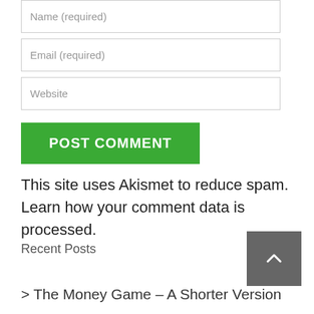Name (required)
Email (required)
Website
POST COMMENT
This site uses Akismet to reduce spam. Learn how your comment data is processed.
Recent Posts
> The Money Game – A Shorter Version